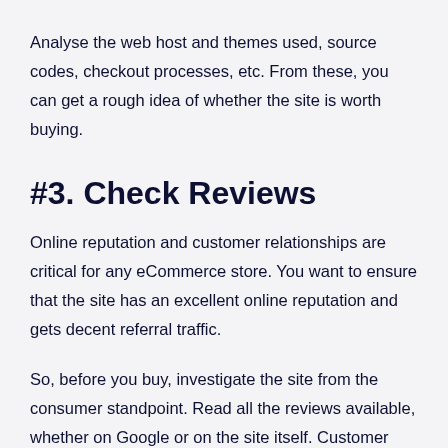Analyse the web host and themes used, source codes, checkout processes, etc. From these, you can get a rough idea of whether the site is worth buying.
#3. Check Reviews
Online reputation and customer relationships are critical for any eCommerce store. You want to ensure that the site has an excellent online reputation and gets decent referral traffic.
So, before you buy, investigate the site from the consumer standpoint. Read all the reviews available, whether on Google or on the site itself. Customer